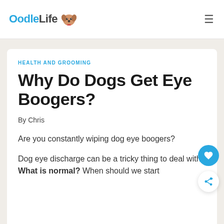OodleLife [logo]
HEALTH AND GROOMING
Why Do Dogs Get Eye Boogers?
By Chris
Are you constantly wiping dog eye boogers?
Dog eye discharge can be a tricky thing to deal with. What is normal? When should we start worrying about eye eye boogers?